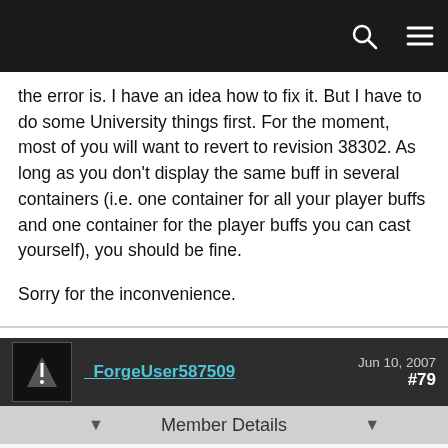the error is. I have an idea how to fix it. But I have to do some University things first. For the moment, most of you will want to revert to revision 38302. As long as you don't display the same buff in several containers (i.e. one container for all your player buffs and one container for the player buffs you can cast yourself), you should be fine.

Sorry for the inconvenience.
_ForgeUser587509  Jun 10, 2007  #79
Member Details
I'll never forgive you.

...

just kidding! I respect your dedication, and I trust you'll fix it. :)